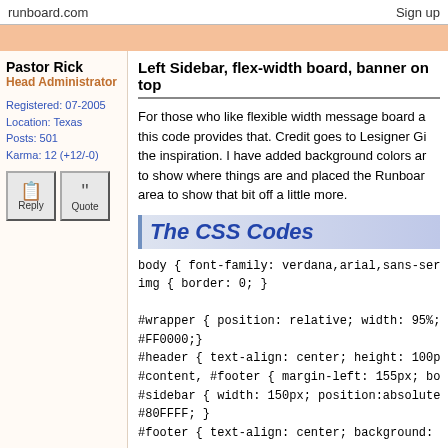runboard.com | Sign up
Pastor Rick
Head Administrator
Registered: 07-2005
Location: Texas
Posts: 501
Karma: 12 (+12/-0)
Left Sidebar, flex-width board, banner on top
For those who like flexible width message board a... this code provides that. Credit goes to Lesigner Gi... the inspiration. I have added background colors ar... to show where things are and placed the Runboar... area to show that bit off a little more.
The CSS Codes
body { font-family: verdana,arial,sans-serif; font-siz...
img { border: 0; }

#wrapper { position: relative; width: 95%; margin: 0...
#FF0000;}
#header { text-align: center; height: 100px; backgr...
#content, #footer { margin-left: 155px; border: 1px...
#sidebar { width: 150px; position:absolute; top: 10...
#80FFFF; }
#footer { text-align: center; background: #FFFF80;...

#header h1 {
  background-image:url(http://url_to_banner.jpg);
  background-position: center;